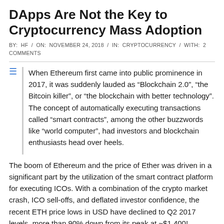DApps Are Not the Key to Cryptocurrency Mass Adoption
BY: HF / ON: NOVEMBER 24, 2018 / IN: CRYPTOCURRENCY / WITH: 2 COMMENTS
When Ethereum first came into public prominence in 2017, it was suddenly lauded as “Blockchain 2.0”, “the Bitcoin killer”, or “the blockchain with better technology”. The concept of automatically executing transactions called “smart contracts”, among the other buzzwords like “world computer”, had investors and blockchain enthusiasts head over heels.
The boom of Ethereum and the price of Ether was driven in a significant part by the utilization of the smart contract platform for executing ICOs. With a combination of the crypto market crash, ICO sell-offs, and deflated investor confidence, the recent ETH price lows in USD have declined to Q2 2017 levels, more than 90% down from its peak at ~$1,400!